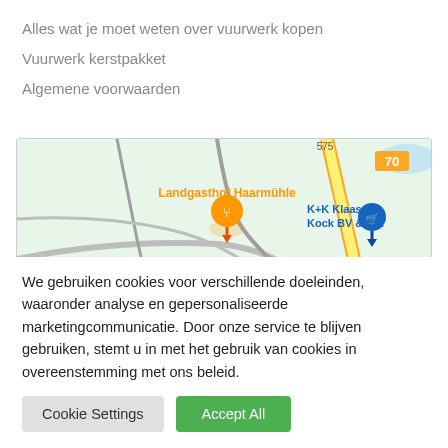Alles wat je moet weten over vuurwerk kopen
Vuurwerk kerstpakket
Algemene voorwaarden
[Figure (map): Google Maps showing location with markers for Landgasthof Haarmühle (restaurant, orange pin), ter Huurne Hollandmarkt (shopping, blue pin), K+K Klaas & Kock BV & Co. (shopping, blue pin), road 70 marked in yellow, Buurser Str. and VfR Alstätte visible, green landscape background.]
We gebruiken cookies voor verschillende doeleinden, waaronder analyse en gepersonaliseerde marketingcommunicatie. Door onze service te blijven gebruiken, stemt u in met het gebruik van cookies in overeenstemming met ons beleid.
Cookie Settings
Accept All